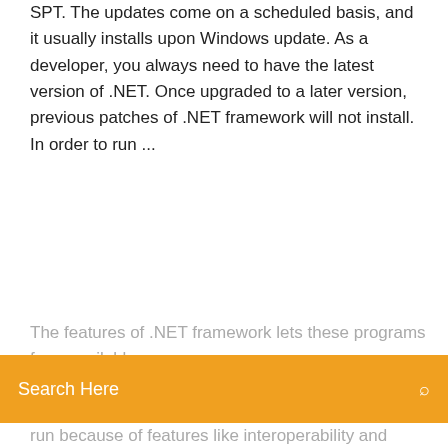SPT. The updates come on a scheduled basis, and it usually installs upon Windows update. As a developer, you always need to have the latest version of .NET. Once upgraded to a later version, previous patches of .NET framework will not install. In order to run ...
The features of .NET framework lets these programs from available...
[Figure (other): Orange search bar overlay with 'Search Here' placeholder text and a search icon on the right]
run because of features like interoperability and language independence. This makes having Microsoft .NET 4.0 framework a must have if you are developing software or even running new applications on your Windows OS. Configuration requise pour le .NET Framework | Microsoft Docs On 64-bit operating systems, .NET Framework supports both WOW64 (32-bit processing on a 64-bit machine) and native 64-bit processing. Systèmes d'exploitation serveurs pris en charge Supported server operating systems. Système d'exploitation Operating system Éditions prises en charge Supported editions